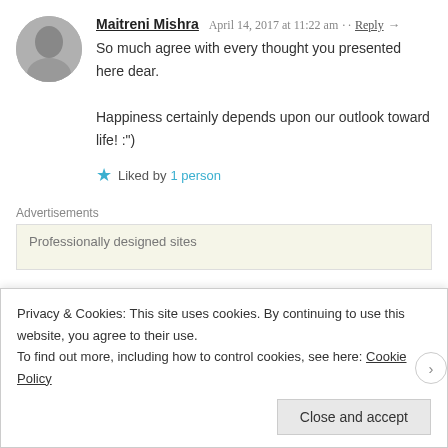Maitreni Mishra · April 14, 2017 at 11:22 am · Reply →
So much agree with every thought you presented here dear.
Happiness certainly depends upon our outlook toward life! :')
★ Liked by 1 person
Advertisements
Professionally designed sites
Anmol Rawat · April 5, 2017 at 11:47 am · Reply →
so, you mean I am responsible for the drastic highs and lows in my everyday life :p
Privacy & Cookies: This site uses cookies. By continuing to use this website, you agree to their use.
To find out more, including how to control cookies, see here: Cookie Policy
Close and accept